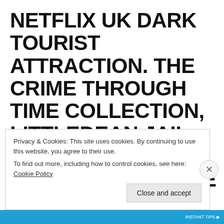NETFLIX UK DARK TOURIST ATTRACTION. THE CRIME THROUGH TIME COLLECTION, LITTLEDEAN JAIL, FOREST OF DEAN, GLOUCESTERSHIRE : PEAKY BLINDERS FEATURED HERE AT THE JAIL . A GANGSTER INSPIRED FAMILY DRAMA TV
Privacy & Cookies: This site uses cookies. By continuing to use this website, you agree to their use.
To find out more, including how to control cookies, see here: Cookie Policy